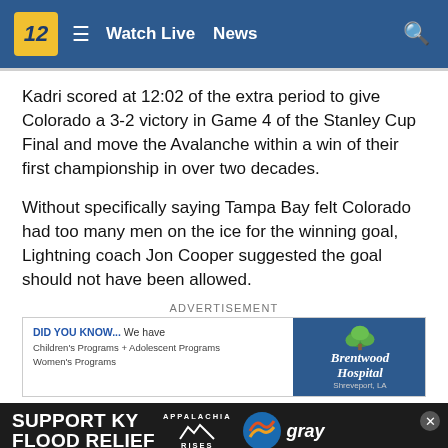12 | Watch Live | News
Kadri scored at 12:02 of the extra period to give Colorado a 3-2 victory in Game 4 of the Stanley Cup Final and move the Avalanche within a win of their first championship in over two decades.
Without specifically saying Tampa Bay felt Colorado had too many men on the ice for the winning goal, Lightning coach Jon Cooper suggested the goal should not have been allowed.
ADVERTISEMENT
[Figure (illustration): Brentwood Hospital advertisement banner: 'DID YOU KNOW... We have Children's Programs + Adolescent Programs Women's Programs' on the left, and Brentwood Hospital logo with tree illustration and 'Shreveport, LA' on the right.]
[Figure (infographic): Support KY Flood Relief banner with Appalachia Rises text and Gray television network logo]
"We're